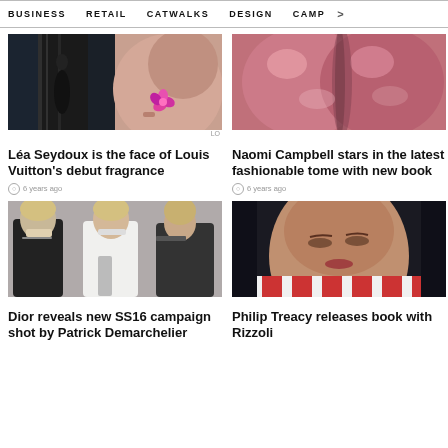BUSINESS   RETAIL   CATWALKS   DESIGN   CAMP >
[Figure (photo): Fashion editorial composite: left panel shows woman in black gown near waterfall, right panel shows woman's bare shoulder with pink flower]
LO
Léa Seydoux is the face of Louis Vuitton's debut fragrance
6 years ago
[Figure (photo): Close-up of glossy pink/mauve sculptural forms reminiscent of a perfume bottle or abstract shapes]
Naomi Campbell stars in the latest fashionable tome with new book
6 years ago
[Figure (photo): Three blonde women in dark formal/fashion clothing posed together for Dior SS16 campaign by Patrick Demarchelier]
Dior reveals new SS16 campaign shot by Patrick Demarchelier
[Figure (photo): Close-up portrait of young woman with dark hair against dark background wearing red and white patterned clothing]
Philip Treacy releases book with Rizzoli